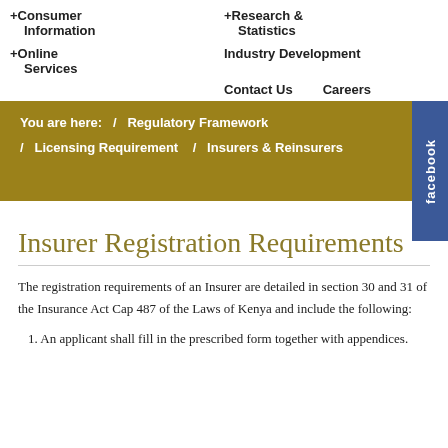+Consumer Information  +Research & Statistics  +Online Services  Industry Development  Contact Us  Careers
You are here: / Regulatory Framework / Licensing Requirement / Insurers & Reinsurers
Insurer Registration Requirements
The registration requirements of an Insurer are detailed in section 30 and 31 of the Insurance Act Cap 487 of the Laws of Kenya and include the following:
1. An applicant shall fill in the prescribed form together with appendices.